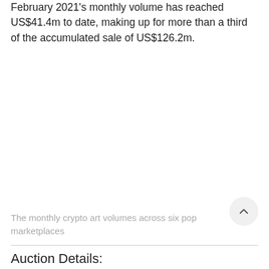February 2021's monthly volume has reached US$41.4m to date, making up for more than a third of the accumulated sale of US$126.2m.
The monthly crypto art volumes across six pop marketplaces
Auction Details: